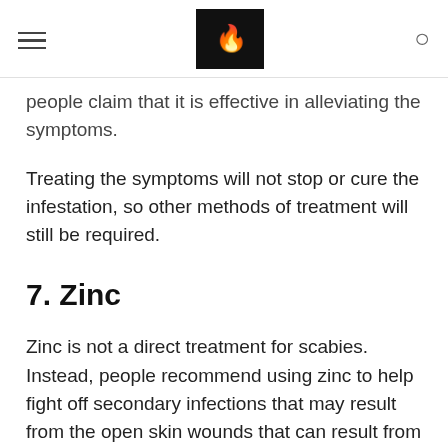[hamburger menu] [logo] [search icon]
people claim that it is effective in alleviating the symptoms.
Treating the symptoms will not stop or cure the infestation, so other methods of treatment will still be required.
7. Zinc
Zinc is not a direct treatment for scabies. Instead, people recommend using zinc to help fight off secondary infections that may result from the open skin wounds that can result from a person